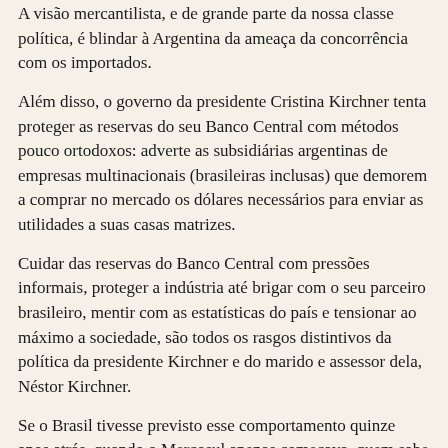A visão mercantilista, e de grande parte da nossa classe política, é blindar à Argentina da ameaça da concorrência com os importados.
Além disso, o governo da presidente Cristina Kirchner tenta proteger as reservas do seu Banco Central com métodos pouco ortodoxos: adverte as subsidiárias argentinas de empresas multinacionais (brasileiras inclusas) que demorem a comprar no mercado os dólares necessários para enviar as utilidades a suas casas matrizes.
Cuidar das reservas do Banco Central com pressões informais, proteger a indústria até brigar com o seu parceiro brasileiro, mentir com as estatísticas do país e tensionar ao máximo a sociedade, são todos os rasgos distintivos da política da presidente Kirchner e do marido e assessor dela, Néstor Kirchner.
Se o Brasil tivesse previsto esse comportamento quinze anos atrás, quando o Mercosul apenas começava, quem sabe não teria se interessado em comprometer-se com um sócio tão conflitivo.
José Luis Espert é economista e diretor da consultoria Espert e Associados
(www.espert.com.ar)